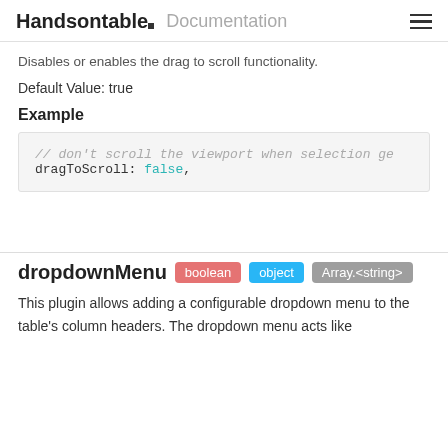Handsontable Documentation
Disables or enables the drag to scroll functionality.
Default Value: true
Example
// don't scroll the viewport when selection ge
dragToScroll: false,
dropdownMenu  boolean  object  Array.<string>
This plugin allows adding a configurable dropdown menu to the table's column headers. The dropdown menu acts like